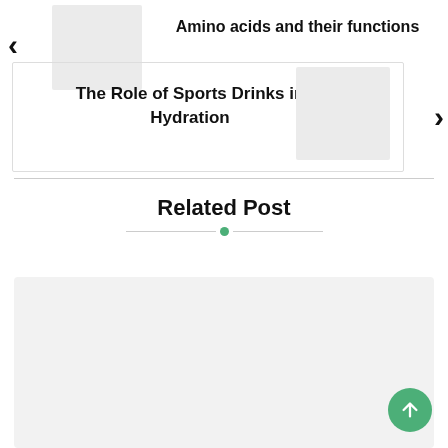‹
[Figure (photo): Thumbnail image placeholder (light gray rectangle) for previous article]
Amino acids and their functions
[Figure (photo): Navigation card with article title and image placeholder]
The Role of Sports Drinks in Hydration
[Figure (photo): Thumbnail image placeholder (light gray rectangle) for next article]
›
Related Post
[Figure (photo): Related post card placeholder (light gray rectangle)]